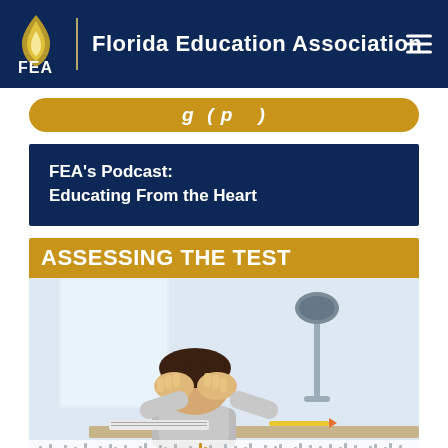FEA | Florida Education Association
[Figure (screenshot): Partial gold rounded button with white italic text partially visible at top]
FEA's Podcast: Educating From the Heart
[Figure (photo): Podcast thumbnail titled ASSESSING THE TEST showing a boy with head in hands sitting at a desk with a lamp and books, with audio waveform at bottom]